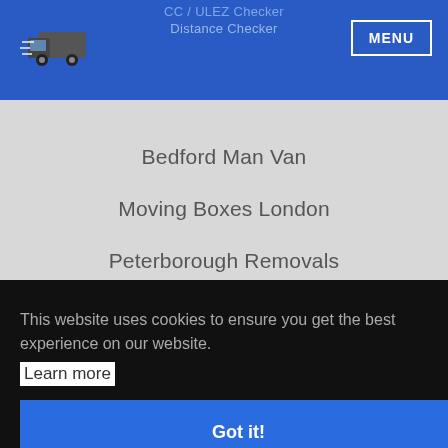CC / ULEZ Checker | Distance Checker | MENU
Bedford Man Van
Moving Boxes London
Peterborough Removals
The Removals London
This website uses cookies to ensure you get the best experience on our website.
Learn more
Got it!